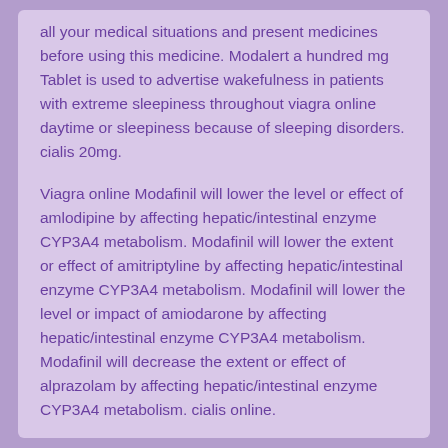all your medical situations and present medicines before using this medicine. Modalert a hundred mg Tablet is used to advertise wakefulness in patients with extreme sleepiness throughout viagra online daytime or sleepiness because of sleeping disorders. cialis 20mg.
Viagra online Modafinil will lower the level or effect of amlodipine by affecting hepatic/intestinal enzyme CYP3A4 metabolism. Modafinil will lower the extent or effect of amitriptyline by affecting hepatic/intestinal enzyme CYP3A4 metabolism. Modafinil will lower the level or impact of amiodarone by affecting hepatic/intestinal enzyme CYP3A4 metabolism. Modafinil will decrease the extent or effect of alprazolam by affecting hepatic/intestinal enzyme CYP3A4 metabolism. cialis online.
Dependence online. The resource for a broader utilization t...